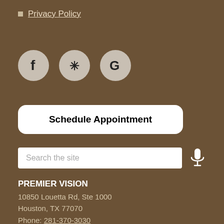Privacy Policy
[Figure (illustration): Three social media icon circles: Facebook (f), Yelp (asterisk/flower), Google (G)]
Schedule Appointment
Search the site
PREMIER VISION
10850 Louetta Rd, Ste 1000
Houston, TX 77070
Phone: 281-370-3030
https://www.premier-vision.net